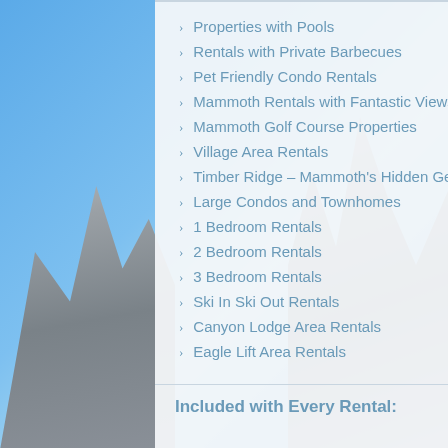Properties with Pools
Rentals with Private Barbecues
Pet Friendly Condo Rentals
Mammoth Rentals with Fantastic Views
Mammoth Golf Course Properties
Village Area Rentals
Timber Ridge – Mammoth's Hidden Gem
Large Condos and Townhomes
1 Bedroom Rentals
2 Bedroom Rentals
3 Bedroom Rentals
Ski In Ski Out Rentals
Canyon Lodge Area Rentals
Eagle Lift Area Rentals
Included with Every Rental: